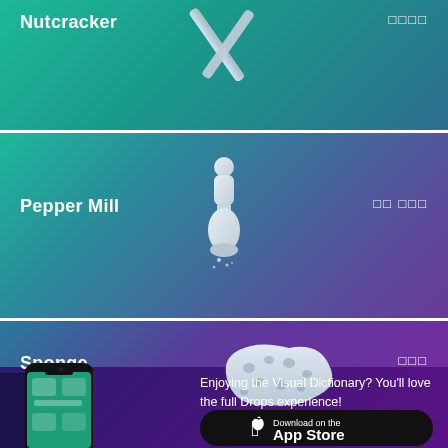Nutcracker
□□□□
[Figure (illustration): 3D illustration of a nutcracker tool on teal-to-blue gradient background]
Pepper Mill
□□ □□□
[Figure (illustration): 3D illustration of a pepper mill on teal-to-purple gradient background]
Sponge
□□□
[Figure (illustration): 3D illustration of a kitchen sponge on blue-to-purple gradient background]
[Figure (screenshot): Smartphone showing the Drops app interface with vocabulary items]
Enjoying the Visual Dictionary? You'll love the full Drops experience!
[Figure (logo): Download on the App Store button]